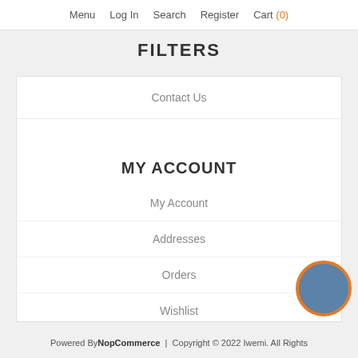Menu  Log In  Search  Register  Cart (0)
FILTERS
Contact Us
MY ACCOUNT
My Account
Addresses
Orders
Wishlist
Powered By NopCommerce | Copyright © 2022 Iwemi. All Rights